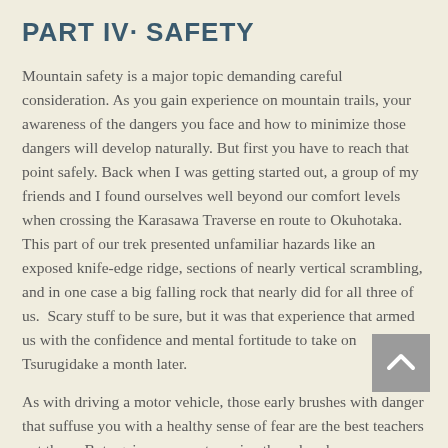PART IV· SAFETY
Mountain safety is a major topic demanding careful consideration. As you gain experience on mountain trails, your awareness of the dangers you face and how to minimize those dangers will develop naturally. But first you have to reach that point safely. Back when I was getting started out, a group of my friends and I found ourselves well beyond our comfort levels when crossing the Karasawa Traverse en route to Okuhotaka. This part of our trek presented unfamiliar hazards like an exposed knife-edge ridge, sections of nearly vertical scrambling, and in one case a big falling rock that nearly did for all three of us.  Scary stuff to be sure, but it was that experience that armed us with the confidence and mental fortitude to take on Tsurugidake a month later.
As with driving a motor vehicle, those early brushes with danger that suffuse you with a healthy sense of fear are the best teachers out there. But again, you must survive those brushes…
Since I began writing for this site back in 2012, I've heard accounts of spectacularly ill-advised behavior; a group of